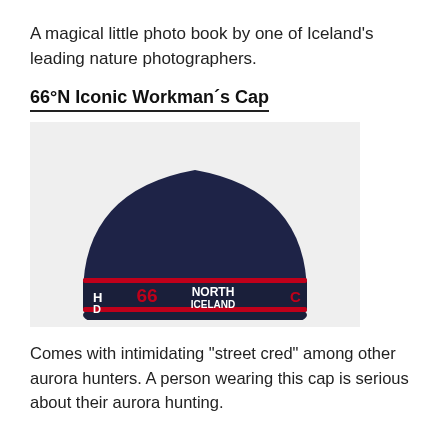A magical little photo book by one of Iceland's leading nature photographers.
66°N Iconic Workman´s Cap
[Figure (photo): A dark navy blue 66°N Iceland branded beanie/workman's cap on a light grey background. The cuff shows the 66°NORTH ICELAND logo in red and white.]
Comes with intimidating "street cred" among other aurora hunters. A person wearing this cap is serious about their aurora hunting.
Hot chocolate (just add hot water)
[Figure (photo): Partial view of a hot chocolate product on a dark background.]